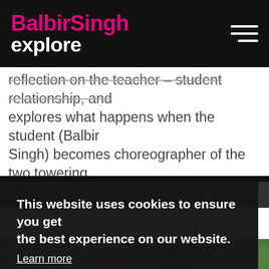BalbirSingh explore
reflection on the teacher–student relationship, and explores what happens when the student (Balbir Singh) becomes choreographer of the two towering figures who once taught him.
partnerships   meet the team   the process s
This website uses cookies to ensure you get the best experience on our website. Learn more
Got it!